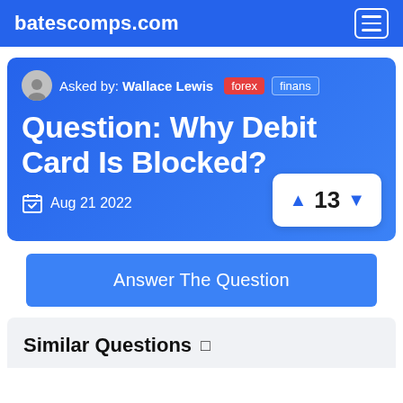batescomps.com
Asked by: Wallace Lewis  forex  finans
Question: Why Debit Card Is Blocked?
Aug 21 2022
▲ 13 ▼
Answer The Question
Similar Questions